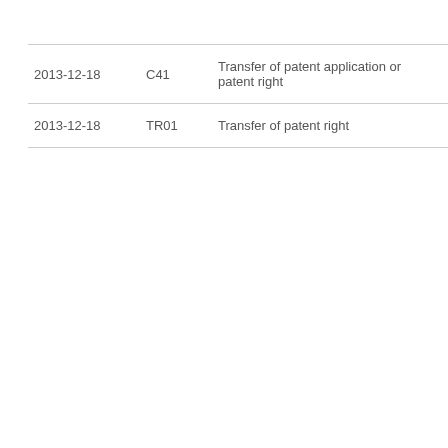| 2013-12-18 | C41 | Transfer of patent application or patent right |
| 2013-12-18 | TR01 | Transfer of patent right |